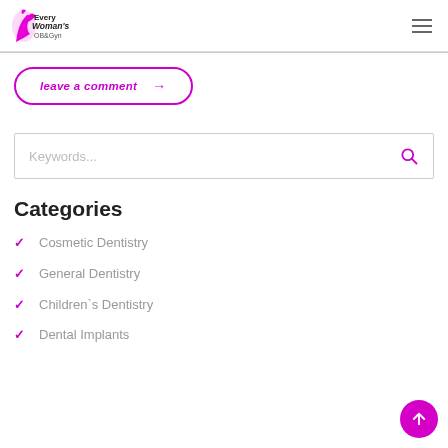Every Woman's OB&Gyn logo and navigation
leave a comment →
Keywords...
Categories
Cosmetic Dentistry
General Dentistry
Children`s Dentistry
Dental Implants